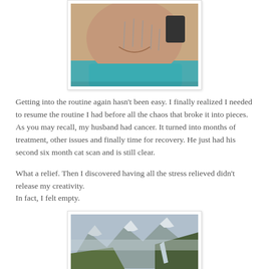[Figure (photo): Close-up photo of a person smiling with acupuncture needles inserted in their neck/face area, wearing a teal/blue garment]
Getting into the routine again hasn't been easy.  I finally realized I needed to resume the routine I had before all the chaos that broke it into pieces. As you may recall, my husband had cancer. It turned into months of treatment, other issues and finally time for recovery. He just had his second six month cat scan and is still clear.
What a relief. Then I discovered having all the stress relieved didn't release my creativity.
In fact, I felt empty.
[Figure (photo): Scenic landscape photo of mountains with snow, green forested hills, a glacier, and a calm body of water in the foreground under overcast skies]